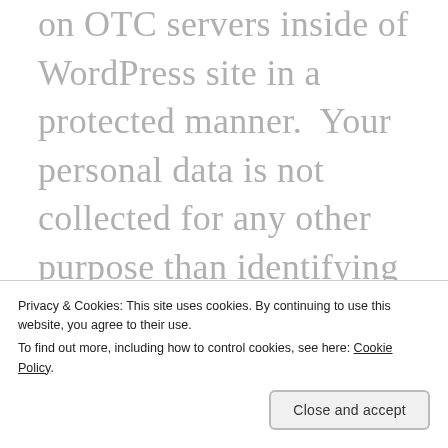on OTC servers inside of WordPress site in a protected manner.  Your personal data is not collected for any other purpose than identifying your comments on our website.  You will not be contacted by The Self-Recue Princess because of a comment you've posted.  Comments are moderated, and any spam or inappropriate behavior will be blocked and deleted.
Privacy & Cookies: This site uses cookies. By continuing to use this website, you agree to their use.
To find out more, including how to control cookies, see here: Cookie Policy